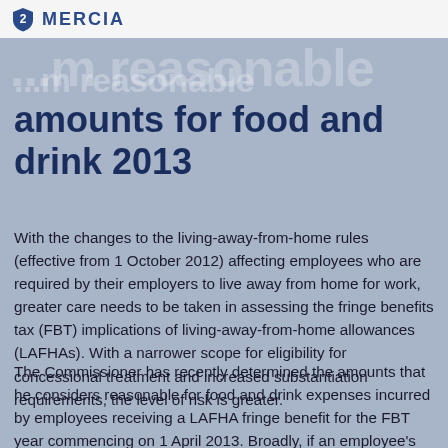MERCIA
amounts for food and drink 2013
With the changes to the living-away-from-home rules (effective from 1 October 2012) affecting employees who are required by their employers to live away from home for work, greater care needs to be taken in assessing the fringe benefits tax (FBT) implications of living-away-from-home allowances (LAFHAs). With a narrower scope for eligibility for concessional treatment and increased substantiation requirements, the level of risk is greater.
The Commissioner has recently determined the amounts that he considers reasonable for food and drink expenses incurred by employees receiving a LAFHA fringe benefit for the FBT year commencing on 1 April 2013. Broadly, if an employee's food and drink